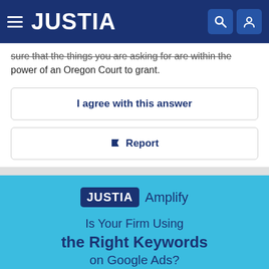JUSTIA
sure that the things you are asking for are within the power of an Oregon Court to grant.
I agree with this answer
Report
[Figure (logo): Justia Amplify logo with text]
Is Your Firm Using the Right Keywords on Google Ads?
Let Us Help